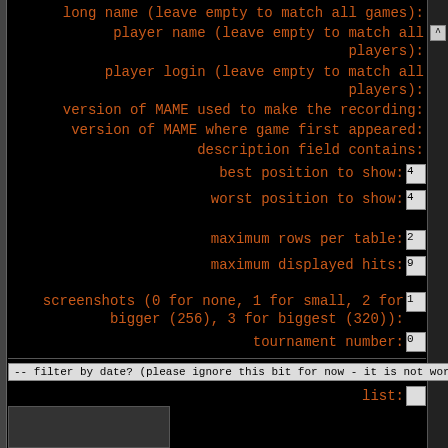long name (leave empty to match all games):
player name (leave empty to match all players):
player login (leave empty to match all players):
version of MAME used to make the recording:
version of MAME where game first appeared:
description field contains:
best position to show:
worst position to show:
maximum rows per table:
maximum displayed hits:
screenshots (0 for none, 1 for small, 2 for bigger (256), 3 for biggest (320)):
tournament number:
-- filter by date? (please ignore this bit for now - it is not working) --
list: